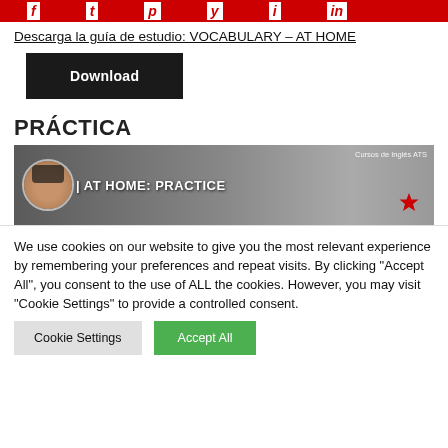[Figure (other): Red banner with stylized italic white letters on red background]
Descarga la guía de estudio: VOCABULARY – AT HOME
[Figure (other): Black Download button]
PRÁCTICA
[Figure (screenshot): Video thumbnail showing a woman presenter with text AT HOME: PRACTICE and Cursos de Inglés ATS watermark]
We use cookies on our website to give you the most relevant experience by remembering your preferences and repeat visits. By clicking "Accept All", you consent to the use of ALL the cookies. However, you may visit "Cookie Settings" to provide a controlled consent.
[Figure (other): Cookie Settings and Accept All buttons]